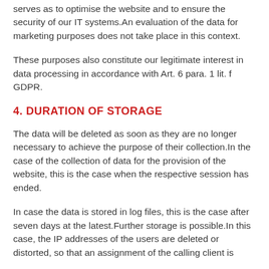serves as to optimise the website and to ensure the security of our IT systems.An evaluation of the data for marketing purposes does not take place in this context.
These purposes also constitute our legitimate interest in data processing in accordance with Art. 6 para. 1 lit. f GDPR.
4. DURATION OF STORAGE
The data will be deleted as soon as they are no longer necessary to achieve the purpose of their collection.In the case of the collection of data for the provision of the website, this is the case when the respective session has ended.
In case the data is stored in log files, this is the case after seven days at the latest.Further storage is possible.In this case, the IP addresses of the users are deleted or distorted, so that an assignment of the calling client is